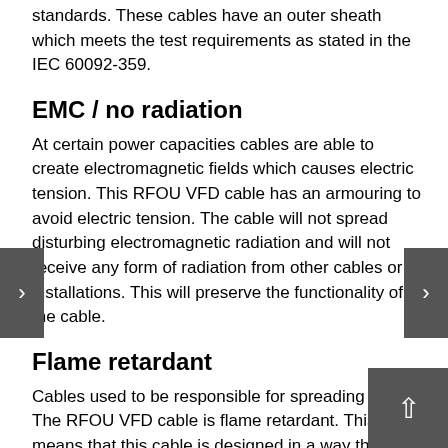standards. These cables have an outer sheath which meets the test requirements as stated in the IEC 60092-359.
EMC / no radiation
At certain power capacities cables are able to create electromagnetic fields which causes electric tension. This RFOU VFD cable has an armouring to avoid electric tension. The cable will not spread disturbing electromagnetic radiation and will not receive any form of radiation from other cables or installations. This will preserve the functionality of the cable.
Flame retardant
Cables used to be responsible for spreading fire. The RFOU VFD cable is flame retardant. This means that this cable is designed in a way that it will not spread fire. Cables with these advantages are often used in buildings and at locations where people live, work and